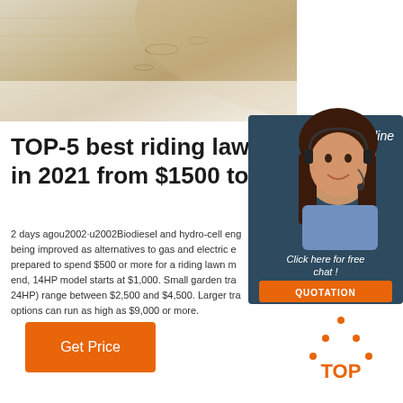[Figure (photo): Close-up photo of beige/tan woven fabric or material, cropped at top of page]
[Figure (infographic): 24/7 Online chat widget with a female customer service agent wearing a headset, with 'Click here for free chat!' text and an orange QUOTATION button]
TOP-5 best riding lawn mowers in 2021 from $1500 to
2 days agou2002·u2002Biodiesel and hydro-cell engines are being improved as alternatives to gas and electric engines. Be prepared to spend $500 or more for a riding lawn mower. At the high end, 14HP model starts at $1,000. Small garden tractors (18HP to 24HP) range between $2,500 and $4,500. Larger tractor options can run as high as $9,000 or more.
[Figure (logo): Orange 'TOP' logo with dotted triangle above text in bottom right corner]